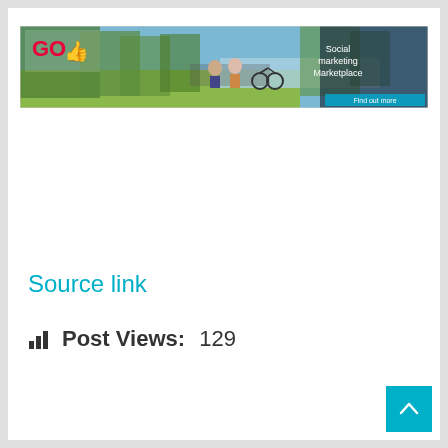[Figure (screenshot): Banner advertisement for 'GO!' Social marketing Marketplace, showing people sitting on a bench near a lake with bicycles]
Source link
Post Views: 129